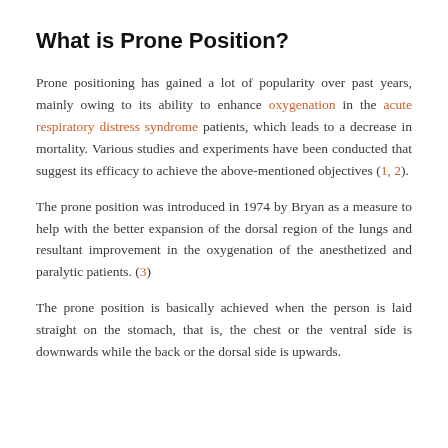What is Prone Position?
Prone positioning has gained a lot of popularity over past years, mainly owing to its ability to enhance oxygenation in the acute respiratory distress syndrome patients, which leads to a decrease in mortality. Various studies and experiments have been conducted that suggest its efficacy to achieve the above-mentioned objectives (1, 2).
The prone position was introduced in 1974 by Bryan as a measure to help with the better expansion of the dorsal region of the lungs and resultant improvement in the oxygenation of the anesthetized and paralytic patients. (3)
The prone position is basically achieved when the person is laid straight on the stomach, that is, the chest or the ventral side is downwards while the back or the dorsal side is upwards.